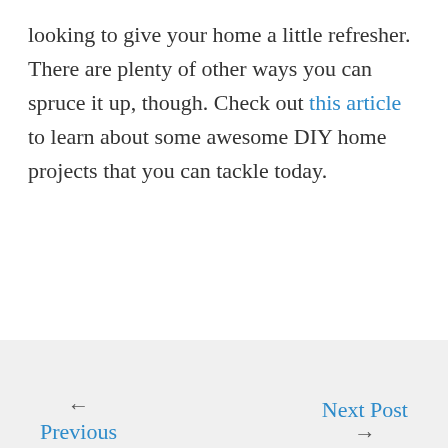looking to give your home a little refresher. There are plenty of other ways you can spruce it up, though. Check out this article to learn about some awesome DIY home projects that you can tackle today.
← Next Post  Previous →